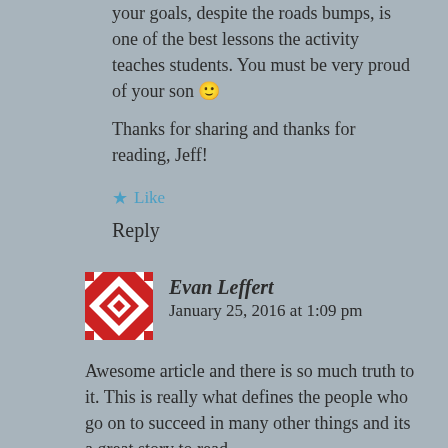your goals, despite the roads bumps, is one of the best lessons the activity teaches students. You must be very proud of your son 🙂 Thanks for sharing and thanks for reading, Jeff!
Like
Reply
Evan Leffert
January 25, 2016 at 1:09 pm
Awesome article and there is so much truth to it. This is really what defines the people who go on to succeed in many other things and its a great story to read.